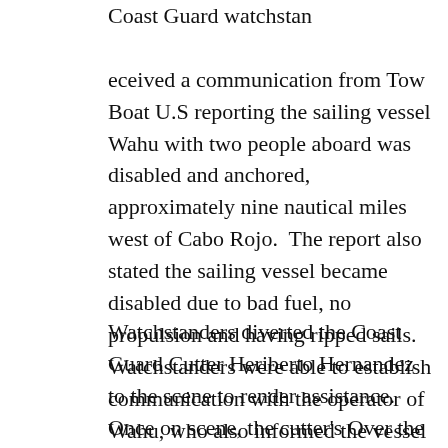Coast Guard watchstanders received a communication from Tow Boat U.S reporting the sailing vessel Wahu with two people aboard was disabled and anchored, approximately nine nautical miles west of Cabo Rojo.  The report also stated the sailing vessel became disabled due to bad fuel, no propulsion and having ripped sails. Watchstanders were able to establish communication with the operator of Wahu, who also informed the vessel had a dinghy onboard with a hole in it and that they were working to repair it and use it to get to shore.
Watchstanders diverted the Coast Guard Cutter Heriberto Hernandez to the scene to render assistance. Once on scene, the cutter's Over the Horizon IV boat came alongside, and the crew provided the Wahu with 15 gallons of diesel fuel and they ensured the sailing vessel was in proper working order. The cutter...